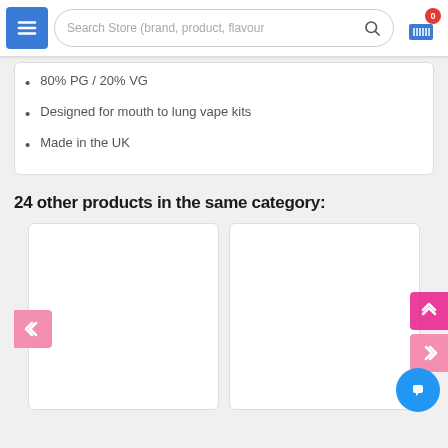Search Store (brand, product, flavour)
80% PG / 20% VG
Designed for mouth to lung vape kits
Made in the UK
24 other products in the same category:
[Figure (screenshot): Two white product card placeholders side by side with navigation arrows and chat button]